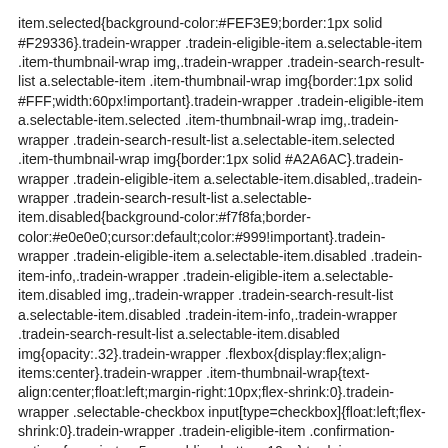item.selected{background-color:#FEF3E9;border:1px solid #F29336}.tradein-wrapper .tradein-eligible-item a.selectable-item .item-thumbnail-wrap img,.tradein-wrapper .tradein-search-result-list a.selectable-item .item-thumbnail-wrap img{border:1px solid #FFF;width:60px!important}.tradein-wrapper .tradein-eligible-item a.selectable-item.selected .item-thumbnail-wrap img,.tradein-wrapper .tradein-search-result-list a.selectable-item.selected .item-thumbnail-wrap img{border:1px solid #A2A6AC}.tradein-wrapper .tradein-eligible-item a.selectable-item.disabled,.tradein-wrapper .tradein-search-result-list a.selectable-item.disabled{background-color:#f7f8fa;border-color:#e0e0e0;cursor:default;color:#999!important}.tradein-wrapper .tradein-eligible-item a.selectable-item.disabled .tradein-item-info,.tradein-wrapper .tradein-eligible-item a.selectable-item.disabled img,.tradein-wrapper .tradein-search-result-list a.selectable-item.disabled .tradein-item-info,.tradein-wrapper .tradein-search-result-list a.selectable-item.disabled img{opacity:.32}.tradein-wrapper .flexbox{display:flex;align-items:center}.tradein-wrapper .item-thumbnail-wrap{text-align:center;float:left;margin-right:10px;flex-shrink:0}.tradein-wrapper .selectable-checkbox input[type=checkbox]{float:left;flex-shrink:0}.tradein-wrapper .tradein-eligible-item .confirmation-actions{margin-top:5px;padding-bottom:10px}.tradein-wrapper .tradein-selected-item-condition-view{display:none}.tradein-wrapper .continue-button{margin-left:10px}.tradein-wrapper .continue-button.active{display:inline-block}.tradein-wrapper .active{display:block}.tradein-templates{display:none;visibility:hidden}.tradein-wrapper